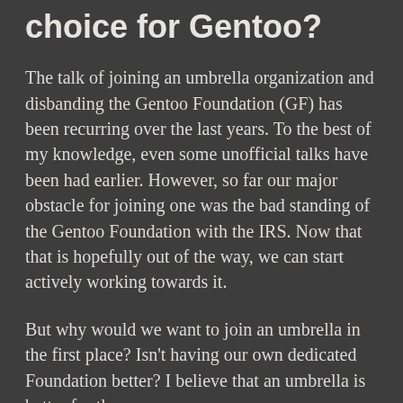choice for Gentoo?
The talk of joining an umbrella organization and disbanding the Gentoo Foundation (GF) has been recurring over the last years. To the best of my knowledge, even some unofficial talks have been had earlier. However, so far our major obstacle for joining one was the bad standing of the Gentoo Foundation with the IRS. Now that that is hopefully out of the way, we can start actively working towards it.
But why would we want to join an umbrella in the first place? Isn't having our own dedicated Foundation better? I believe that an umbrella is better for three reasons: